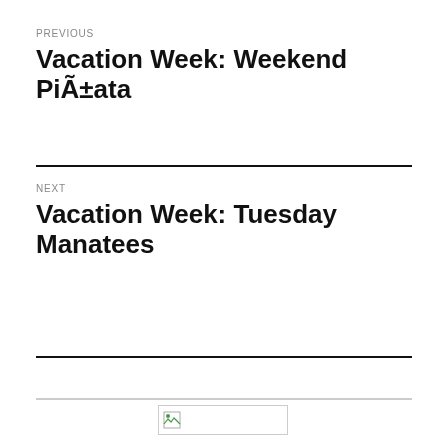PREVIOUS
Vacation Week: Weekend Piñata
NEXT
Vacation Week: Tuesday Manatees
[Figure (other): Broken image placeholder]